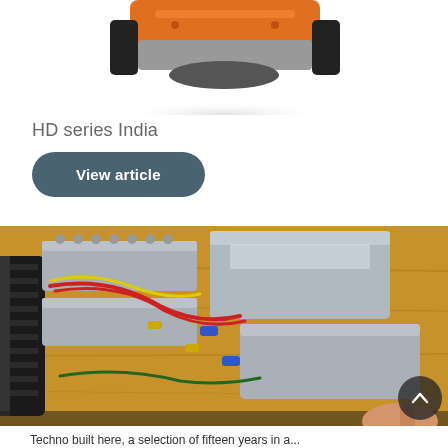[Figure (photo): Partial view of an orange and black robot/vehicle from above on white background]
HD series India
View article
[Figure (photo): Close-up photo of a LEGO Technic mechanical assembly with grey beams, colourful wires (red, yellow, green), black tracks, and a hand visible at bottom right, placed on a wooden surface]
Techno built here, a selection of fifteen years in a...